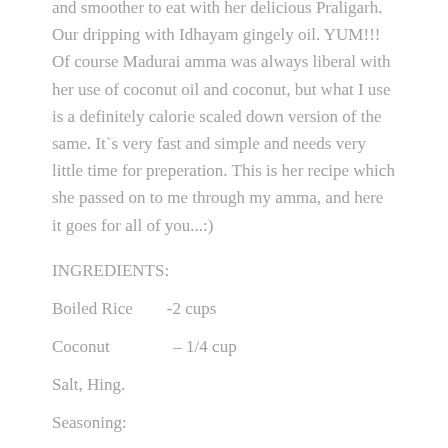and smoother to eat with her delicious Praligarh. Our dripping with Idhayam gingely oil. YUM!!!  Of course Madurai amma was always liberal with her use of coconut oil and coconut, but what I use is a definitely calorie scaled down version of the same. It`s very fast and simple and needs very little time for preperation. This is her recipe which she passed on to me through my amma, and here it goes for all of you...:)
INGREDIENTS:
Boiled Rice       -2 cups
Coconut              – 1/4 cup
Salt, Hing.
Seasoning: